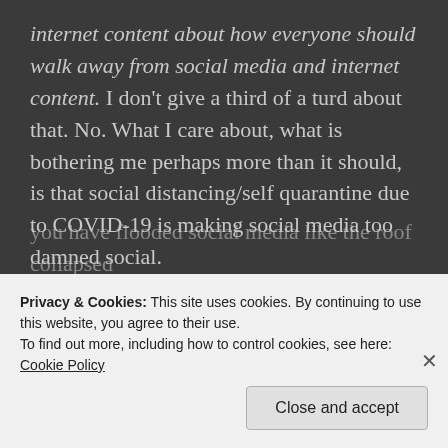internet content about how everyone should walk away from social media and internet content.  I don't give a third of a turd about that. No. What I care about, what is bothering me perhaps more than it should, is that social distancing/self quarantine due to COVID-19 is making social media too damned social.
That's right. All of you extroverted, day-dwelling social butterflies have been cruelly thrust into a world of pandemic where public gatherings are a really bad idea. The introverts' world. So now, with nowhere else to go, you have flooded social media like the roof collapsed
Privacy & Cookies: This site uses cookies. By continuing to use this website, you agree to their use.
To find out more, including how to control cookies, see here: Cookie Policy
Close and accept